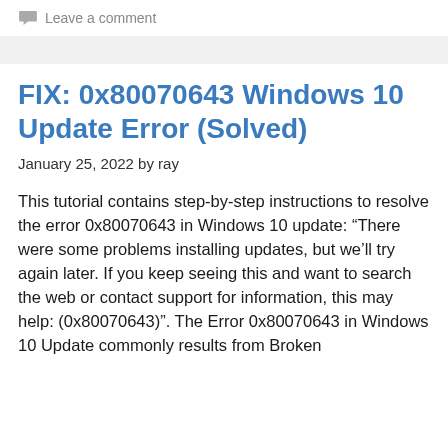Leave a comment
FIX: 0x80070643 Windows 10 Update Error (Solved)
January 25, 2022 by ray
This tutorial contains step-by-step instructions to resolve the error 0x80070643 in Windows 10 update: “There were some problems installing updates, but we’ll try again later. If you keep seeing this and want to search the web or contact support for information, this may help: (0x80070643)”. The Error 0x80070643 in Windows 10 Update commonly results from Broken